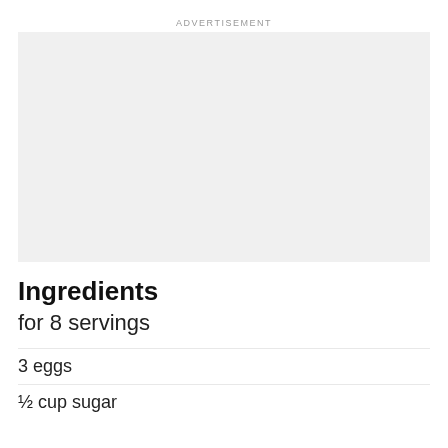ADVERTISEMENT
[Figure (other): Advertisement placeholder box with light gray background]
Ingredients
for 8 servings
3 eggs
½ cup sugar